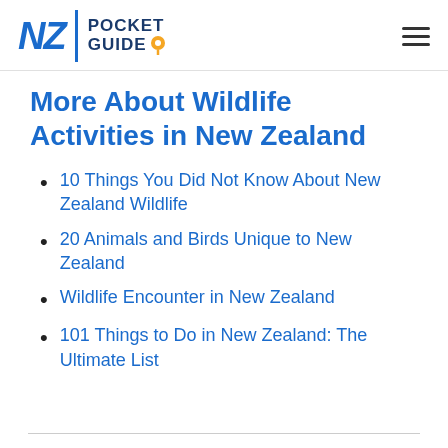NZ POCKET GUIDE
More About Wildlife Activities in New Zealand
10 Things You Did Not Know About New Zealand Wildlife
20 Animals and Birds Unique to New Zealand
Wildlife Encounter in New Zealand
101 Things to Do in New Zealand: The Ultimate List